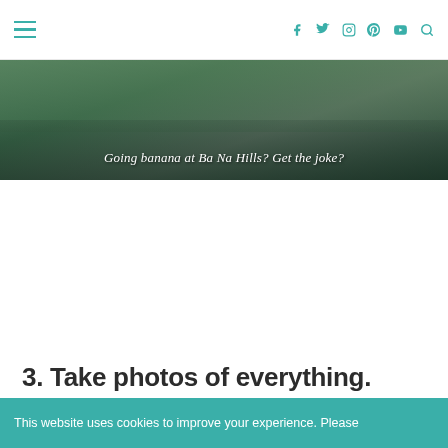Navigation bar with hamburger menu and social icons (Facebook, Twitter, Instagram, Pinterest, YouTube, Search)
[Figure (photo): Outdoor photo with overlaid italic text: 'Going banana at Ba Na Hills? Get the joke?']
3. Take photos of everything.
This website uses cookies to improve your experience. Please